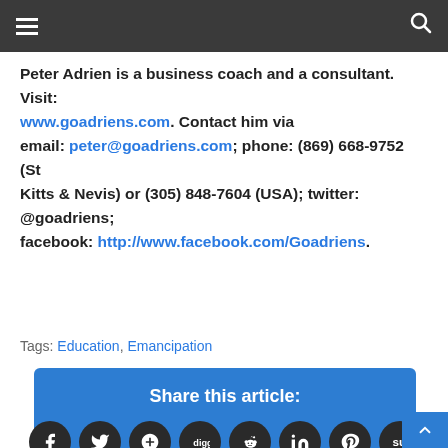Navigation header bar with hamburger menu and search icon
Peter Adrien is a business coach and a consultant. Visit: www.goadriens.com. Contact him via email: peter@goadriens.com; phone: (869) 668-9752 (St Kitts & Nevis) or (305) 848-7604 (USA); twitter: @goadriens; facebook: http://www.facebook.com/Goadriens.
Tags: Education, Emancipation
Share this article: